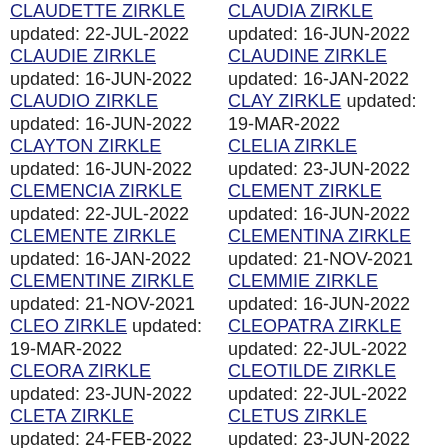CLAUDETTE ZIRKLE updated: 22-JUL-2022
CLAUDIA ZIRKLE updated: 16-JUN-2022
CLAUDIE ZIRKLE updated: 16-JUN-2022
CLAUDINE ZIRKLE updated: 16-JAN-2022
CLAUDIO ZIRKLE updated: 16-JUN-2022
CLAY ZIRKLE updated: 19-MAR-2022
CLAYTON ZIRKLE updated: 16-JUN-2022
CLELIA ZIRKLE updated: 23-JUN-2022
CLEMENCIA ZIRKLE updated: 22-JUL-2022
CLEMENT ZIRKLE updated: 16-JUN-2022
CLEMENTE ZIRKLE updated: 16-JAN-2022
CLEMENTINA ZIRKLE updated: 21-NOV-2021
CLEMENTINE ZIRKLE updated: 21-NOV-2021
CLEMMIE ZIRKLE updated: 16-JUN-2022
CLEO ZIRKLE updated: 19-MAR-2022
CLEOPATRA ZIRKLE updated: 22-JUL-2022
CLEORA ZIRKLE updated: 23-JUN-2022
CLEOTILDE ZIRKLE updated: 22-JUL-2022
CLETA ZIRKLE updated: 24-FEB-2022
CLETUS ZIRKLE updated: 23-JUN-2022